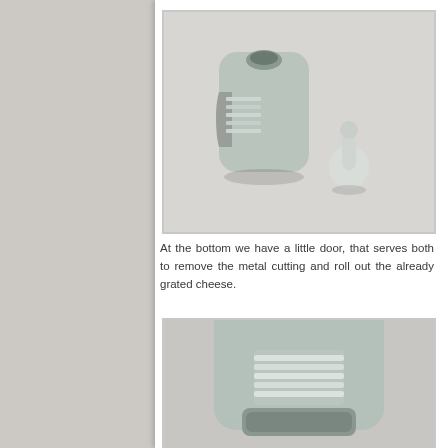[Figure (photo): Photo of a small light grey/mint colored kitchen cheese grater device with an opening on the side showing metal cutting blades, and a separate small bowling-pin shaped white plastic piece next to it, on a light grey background.]
At the bottom we have a little door, that serves both to remove the metal cutting and roll out the already grated cheese.
[Figure (photo): Close-up photo of the bottom of the same light mint/grey cheese grater device, showing a door/opening at the bottom with metallic cutting elements visible inside, on a light grey background.]